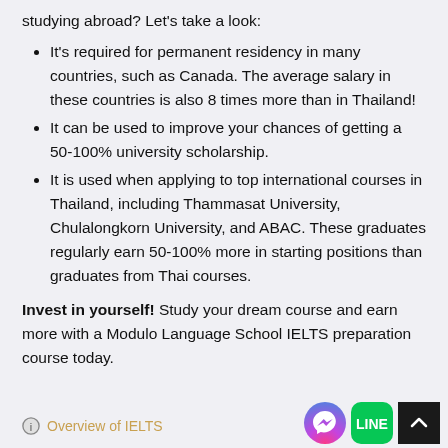studying abroad? Let's take a look:
It's required for permanent residency in many countries, such as Canada. The average salary in these countries is also 8 times more than in Thailand!
It can be used to improve your chances of getting a 50-100% university scholarship.
It is used when applying to top international courses in Thailand, including Thammasat University, Chulalongkorn University, and ABAC. These graduates regularly earn 50-100% more in starting positions than graduates from Thai courses.
Invest in yourself! Study your dream course and earn more with a Modulo Language School IELTS preparation course today.
Overview of IELTS